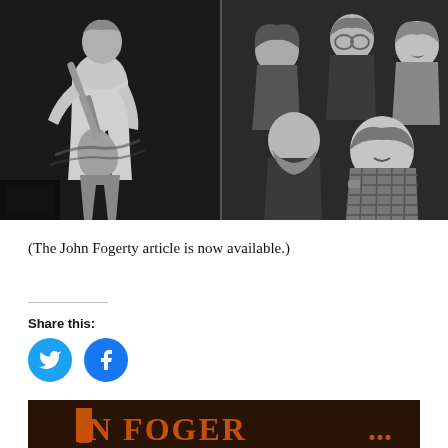[Figure (photo): Black and white composite: left side shows a guitarist performing on stage, right side shows a group of four men posing together (band photo).]
(The John Fogerty article is now available.)
Share this:
[Figure (illustration): Twitter bird icon in a blue circle]
[Figure (illustration): Facebook 'f' icon in a blue circle]
[Figure (photo): Partial bottom image showing text 'JN FOGER...' in orange/rust lettering against a dark background (appears to be a book or album cover).]